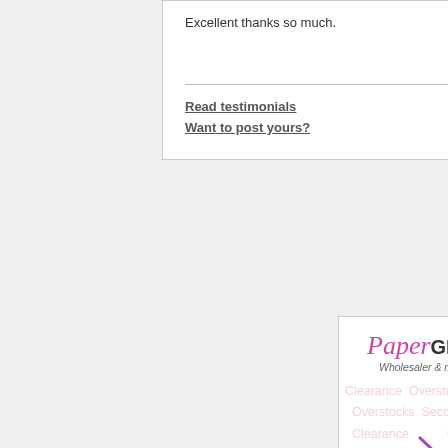Excellent thanks so much.
Jackie
Jul 4, 2015
Read testimonials
Want to post yours?
[Figure (advertisement): PaperGlitz Wholesaler & manufacturer advertisement with bargain bin logo showing colorful burst graphic with stars, 'bargain bin' text in red, watermark background text repeating 'Clearance Overstocks Seconds', and large purple 'Save' text at bottom]